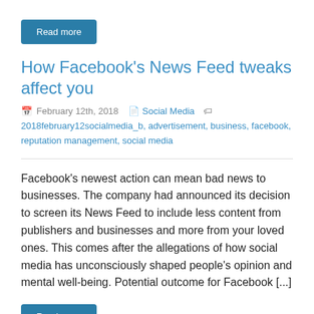Read more
How Facebook's News Feed tweaks affect you
February 12th, 2018   Social Media   2018february12socialmedia_b, advertisement, business, facebook, reputation management, social media
Facebook's newest action can mean bad news to businesses. The company had announced its decision to screen its News Feed to include less content from publishers and businesses and more from your loved ones. This comes after the allegations of how social media has unconsciously shaped people's opinion and mental well-being. Potential outcome for Facebook [...]
Read more